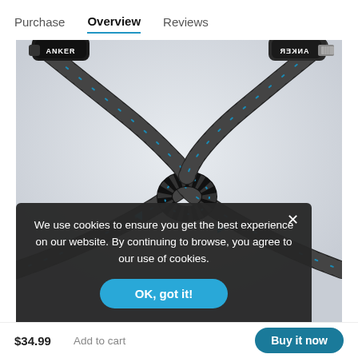Purchase  Overview  Reviews
[Figure (photo): Anker USB-C to Lightning braided cable with two connector ends crossed in an X shape, showing the ANKER logo on both black connectors, with a blue/black woven cable tied in a knot in the center. Background is light gray.]
We use cookies to ensure you get the best experience on our website. By continuing to browse, you agree to our use of cookies.
OK, got it!
$34.99  Add to cart  Buy it now